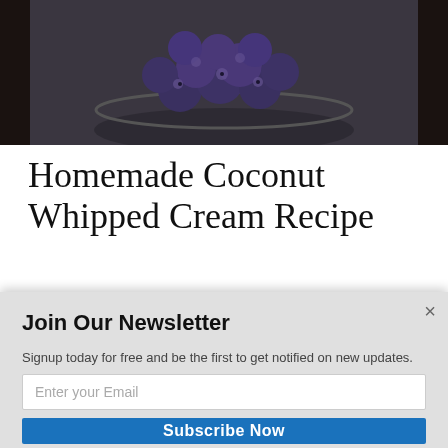[Figure (photo): Top-down photo of a bowl of blueberries on a dark wooden surface]
Homemade Coconut Whipped Cream Recipe
Looking for a simple dairy substitute for whipped cream that works well with any dessert?  Check out how to make this [POWERED BY SUMO] onut whipped
Join Our Newsletter
Signup today for free and be the first to get notified on new updates.
Enter your Email
Subscribe Now